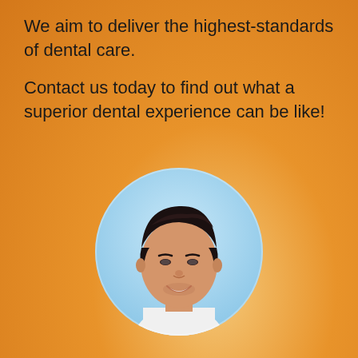We aim to deliver the highest-standards of dental care.
Contact us today to find out what a superior dental experience can be like!
[Figure (photo): Circular portrait photo of a smiling Asian male dentist with dark hair, wearing a white shirt, set against a light blue background]